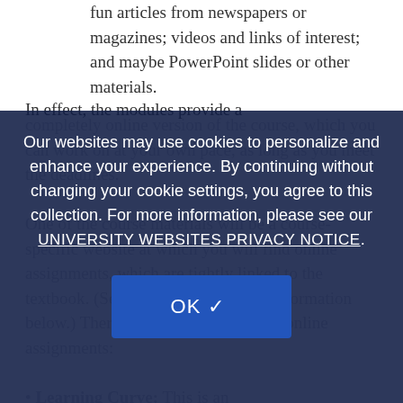fun articles from newspapers or magazines; videos and links of interest; and maybe PowerPoint slides or other materials.
In effect, the modules provide a completely online version of the course, which you can work on at your own pace, as long as you meet the deadlines.
One of the course materials will be a course-specific website at which you will find online assignments, which are tightly linked to the textbook. (See textbook and signup information below.) There will be two parts to the online assignments:
Learning Curve: This is an adaptive learning system that
Our websites may use cookies to personalize and enhance your experience. By continuing without changing your cookie settings, you agree to this collection. For more information, please see our UNIVERSITY WEBSITES PRIVACY NOTICE.